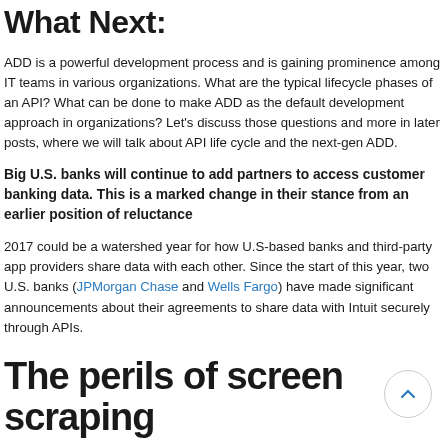What Next:
ADD is a powerful development process and is gaining prominence among IT teams in various organizations. What are the typical lifecycle phases of an API? What can be done to make ADD as the default development approach in organizations? Let's discuss those questions and more in later posts, where we will talk about API life cycle and the next-gen ADD.
Big U.S. banks will continue to add partners to access customer banking data. This is a marked change in their stance from an earlier position of reluctance
2017 could be a watershed year for how U.S-based banks and third-party app providers share data with each other. Since the start of this year, two U.S. banks (JPMorgan Chase and Wells Fargo) have made significant announcements about their agreements to share data with Intuit securely through APIs.
The perils of screen scraping